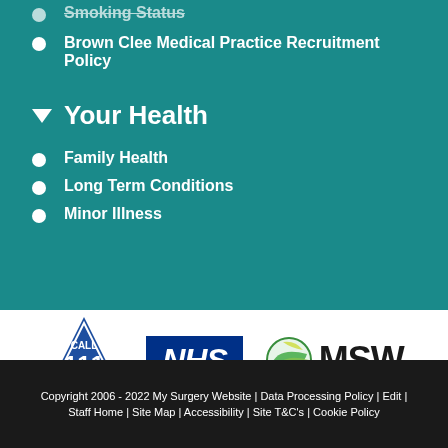Smoking Status
Brown Clee Medical Practice Recruitment Policy
Your Health
Family Health
Long Term Conditions
Minor Illness
[Figure (logo): Call 111 triangle logo, NHS blue logo, MSW green circle logo]
Copyright 2006 - 2022 My Surgery Website | Data Processing Policy | Edit | Staff Home | Site Map | Accessibility | Site T&C's | Cookie Policy